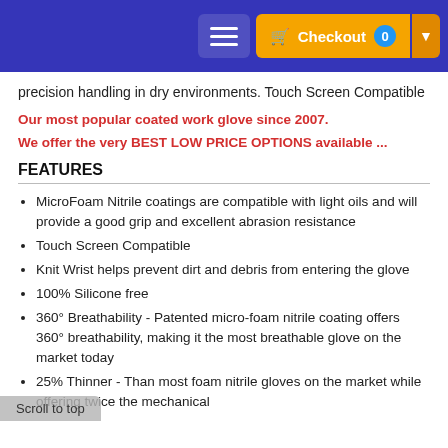Navigation bar with hamburger menu and Checkout button (0 items)
precision handling in dry environments. Touch Screen Compatible
Our most popular coated work glove since 2007.
We offer the very BEST LOW PRICE OPTIONS available ...
FEATURES
MicroFoam Nitrile coatings are compatible with light oils and will provide a good grip and excellent abrasion resistance
Touch Screen Compatible
Knit Wrist helps prevent dirt and debris from entering the glove
100% Silicone free
360° Breathability - Patented micro-foam nitrile coating offers 360° breathability, making it the most breathable glove on the market today
25% Thinner - Than most foam nitrile gloves on the market while offering twice the mechanical